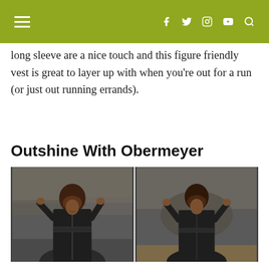Navigation header with hamburger menu and social icons (Facebook, Twitter, Instagram, YouTube, Search)
long sleeve are a nice touch and this figure friendly vest is great to layer up with when you're out for a run (or just out running errands).
Outshine With Obermeyer
[Figure (photo): Two side-by-side photos of a woman wearing a dark navy/black Obermeyer Midtown Soft-Shell Jacket, posed outdoors against a stone wall background with autumn leaves visible.]
Hit the slopes or the streets in the Midtown Soft-Shell Jacket ($179.50) from